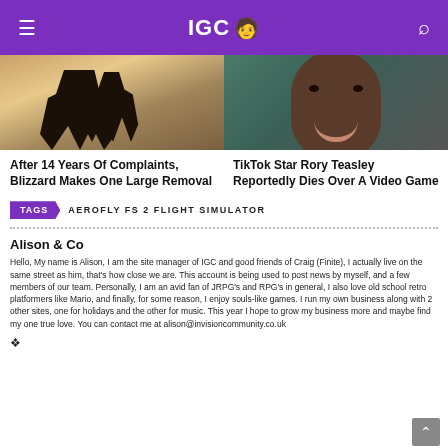IGC
[Figure (photo): Left article image showing dark bird/creature feet silhouette against warm sandy/orange background]
[Figure (photo): Right article image showing a smiling Black man's face against dark teal background]
After 14 Years Of Complaints, Blizzard Makes One Large Removal
TikTok Star Rory Teasley Reportedly Dies Over A Video Game
TAGS  AEROFLY FS 2 FLIGHT SIMULATOR
Alison & Co
Hello, My name is Alison, I am the site manager of IGC and good friends of Craig (Finite), I actually live on the same street as him, that's how close we are. This account is being used to post news by myself, and a few members of our team. Personally, I am an avid fan of JRPG's and RPG's in general, I also love old school retro platformers like Mario, and finally, for some reason, I enjoy souls-like games. I run my own business along with 2 other sites, one for holidays and the other for music. This year I hope to grow my business more and maybe find my one true love. You can contact me at alison@invisioncommunity.co.uk